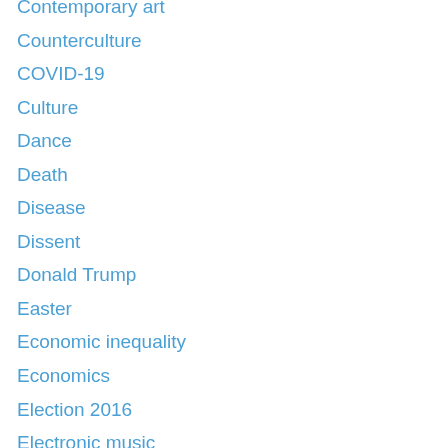Contemporary art
Counterculture
COVID-19
Culture
Dance
Death
Disease
Dissent
Donald Trump
Easter
Economic inequality
Economics
Election 2016
Electronic music
Elton John
Environment
Episcopal Church
Episcopal church camps
Episcopal history
Ethics